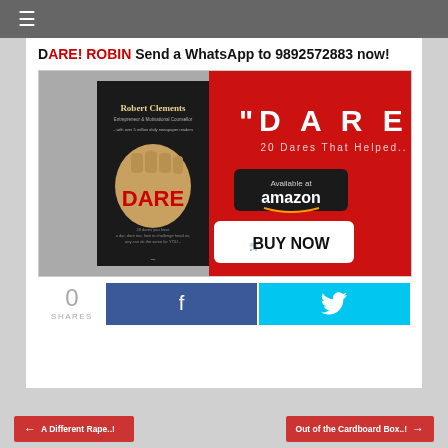≡
DARE! ROBIN Send a WhatsApp to 9892572883 now!
[Figure (photo): Book advertisement for 'DARE' by Robert Clements, showing book cover with a fist and the word DARE in red, alongside a red banner with '"DARE"', '20 Dares That Helped..', Available at amazon button, and BUY NOW button]
0 SHARES
← A Different Rape..!
Out of the Cardboard Box..! →